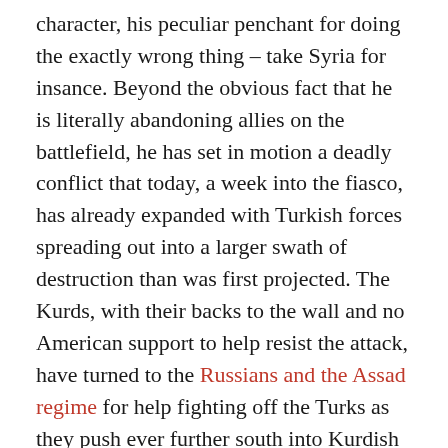character, his peculiar penchant for doing the exactly wrong thing – take Syria for insance. Beyond the obvious fact that he is literally abandoning allies on the battlefield, he has set in motion a deadly conflict that today, a week into the fiasco, has already expanded with Turkish forces spreading out into a larger swath of destruction than was first projected. The Kurds, with their backs to the wall and no American support to help resist the attack, have turned to the Russians and the Assad regime for help fighting off the Turks as they push ever further south into Kurdish territory. Of course in hindsight, this is exactly what his advisers predicted and voiced to the president when he first discussed pulling out troops from the Syrian battlefield.
Trump's reaction was predictable, if not